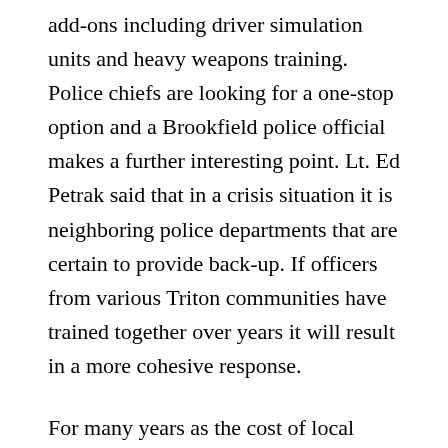add-ons including driver simulation units and heavy weapons training. Police chiefs are looking for a one-stop option and a Brookfield police official makes a further interesting point. Lt. Ed Petrak said that in a crisis situation it is neighboring police departments that are certain to provide back-up. If officers from various Triton communities have trained together over years it will result in a more cohesive response.
For many years as the cost of local government has risen, and with it property tax bills, we have urged mayors and village managers to seek out shared services. While early in this process, this is a sterling example of the benefits of elected officials who have gotten the clear message that old ways are often